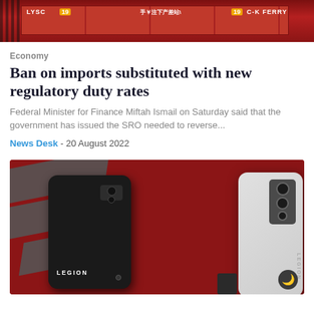[Figure (photo): Aerial or side view of shipping containers, red cargo containers with numbers 19, LYSC, C-K FERRY markings visible]
Economy
Ban on imports substituted with new regulatory duty rates
Federal Minister for Finance Miftah Ismail on Saturday said that the government has issued the SRO needed to reverse...
News Desk  - 20 August 2022
[Figure (photo): Two Lenovo Legion smartphones displayed against a red and dark background with diagonal arrow shapes. One black phone labeled LEGION facing front, one white/silver phone showing back with camera module.]